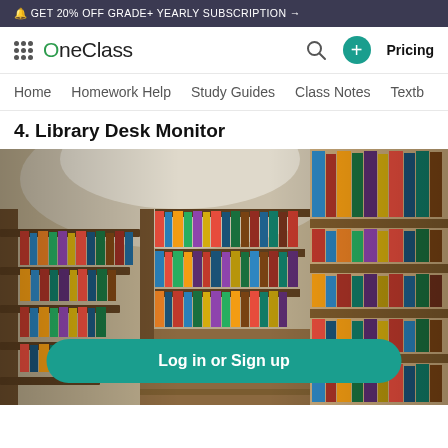🔔 GET 20% OFF GRADE+ YEARLY SUBSCRIPTION →
OneClass — Pricing
Home | Homework Help | Study Guides | Class Notes | Textb
4. Library Desk Monitor
[Figure (photo): A circular library with rows of colorful books on curved shelves, photographed from floor level looking up and along the shelves.]
Log in or Sign up